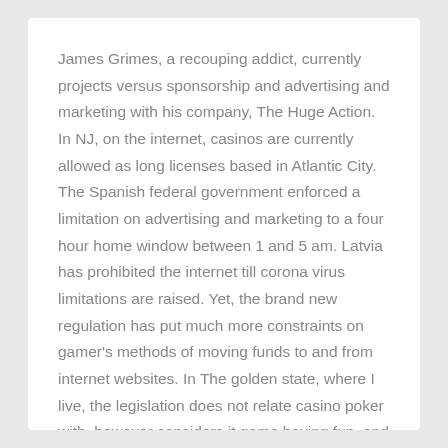James Grimes, a recouping addict, currently projects versus sponsorship and advertising and marketing with his company, The Huge Action. In NJ, on the internet, casinos are currently allowed as long licenses based in Atlantic City. The Spanish federal government enforced a limitation on advertising and marketing to a four hour home window between 1 and 5 am. Latvia has prohibited the internet till corona virus limitations are raised. Yet, the brand new regulation has put much more constraints on gamer's methods of moving funds to and from internet websites. In The golden state, where I live, the legislation does not relate casino poker with  however considers it game having fun, and also specialist casino poker gamers are not considered as casino players, yet as expert game gamers.
read more